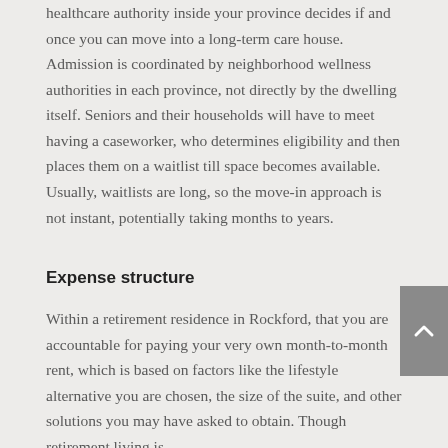healthcare authority inside your province decides if and once you can move into a long-term care house. Admission is coordinated by neighborhood wellness authorities in each province, not directly by the dwelling itself. Seniors and their households will have to meet having a caseworker, who determines eligibility and then places them on a waitlist till space becomes available. Usually, waitlists are long, so the move-in approach is not instant, potentially taking months to years.
Expense structure
Within a retirement residence in Rockford, that you are accountable for paying your very own month-to-month rent, which is based on factors like the lifestyle alternative you are chosen, the size of the suite, and other solutions you may have asked to obtain. Though retirement living is